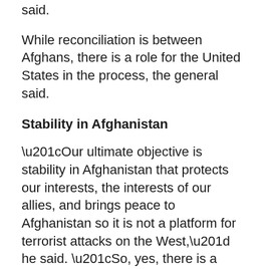said.
While reconciliation is between Afghans, there is a role for the United States in the process, the general said.
Stability in Afghanistan
“Our ultimate objective is stability in Afghanistan that protects our interests, the interests of our allies, and brings peace to Afghanistan so it is not a platform for terrorist attacks on the West,” he said. “So, yes, there is a place in the process for the United States and its allies to assist Afghans with the reconciliation [and] reintegration effort.” Now is the time to define the role, he said.
There is no purely military solution to the conflict in Afghanistan, Nicholson said, and the conflict must end in reconciliation. “I would say the military effort is necessary, but not sufficient to get us to reconciliation,” he said. “There’s a significant political component and diplomatic component that is necessary for this to happen.” It is entirely possible that negotiating and fighting continue at the same time, he acknowledged, as it did in Northern